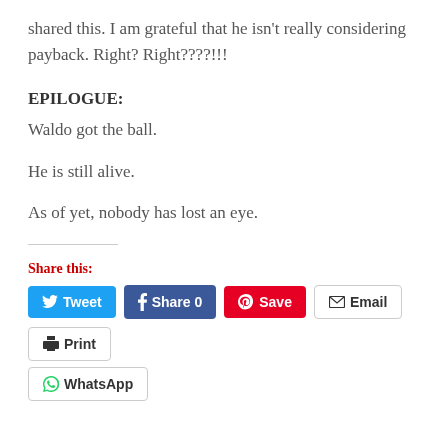shared this.  I am grateful that he isn't really considering payback.  Right?  Right????!!!
EPILOGUE:
Waldo got the ball.
He is still alive.
As of yet, nobody has lost an eye.
Share this:
Tweet | Share 0 | Save | Email | Print | WhatsApp